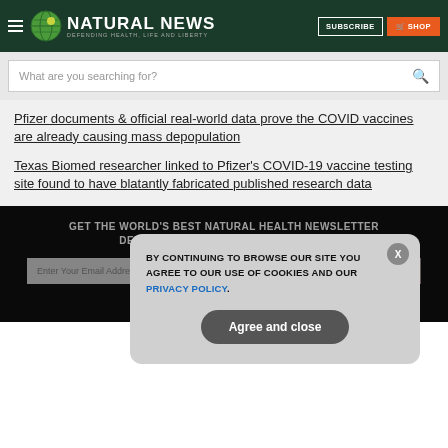NATURAL NEWS — DEFENDING HEALTH, LIFE AND LIBERTY
What are you searching for?
Pfizer documents & official real-world data prove the COVID vaccines are already causing mass depopulation
Texas Biomed researcher linked to Pfizer's COVID-19 vaccine testing site found to have blatantly fabricated published research data
GET THE WORLD'S BEST NATURAL HEALTH NEWSLETTER DELIVERED STRAIGHT TO YOUR INBOX
BY CONTINUING TO BROWSE OUR SITE YOU AGREE TO OUR USE OF COOKIES AND OUR PRIVACY POLICY. Agree and close